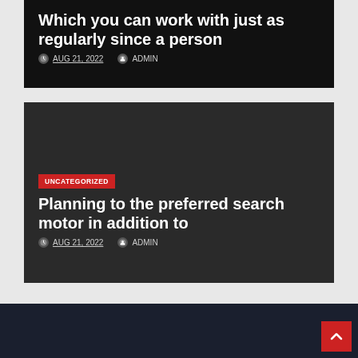Which you can work with just as regularly since a person
AUG 21, 2022   ADMIN
UNCATEGORIZED
Planning to the preferred search motor in addition to
AUG 21, 2022   ADMIN